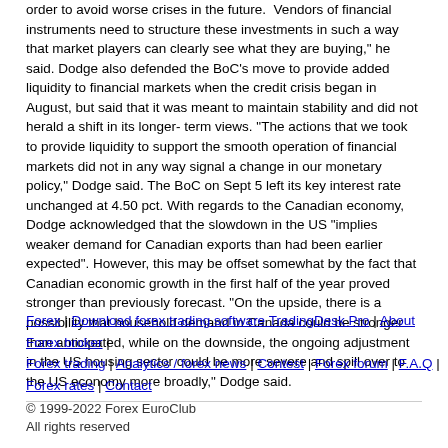order to avoid worse crises in the future. Vendors of financial instruments need to structure these investments in such a way that market players can clearly see what they are buying," he said. Dodge also defended the BoC's move to provide added liquidity to financial markets when the credit crisis began in August, but said that it was meant to maintain stability and did not herald a shift in its longer-term views. "The actions that we took to provide liquidity to support the smooth operation of financial markets did not in any way signal a change in our monetary policy," Dodge said. The BoC on Sept 5 left its key interest rate unchanged at 4.50 pct. With regards to the Canadian economy, Dodge acknowledged that the slowdown in the US "implies weaker demand for Canadian exports than had been earlier expected". However, this may be offset somewhat by the fact that Canadian economic growth in the first half of the year proved stronger than previously forecast. "On the upside, there is a possibility that household demand in Canada could be stronger than anticipated, while on the downside, the ongoing adjustment in the US housing sector could be more severe and spill over to the US economy more broadly," Dodge said.
Forex | Download forex trading software TradingDesk Pro | About Forex broker | Forex trading | Analytics / forex news | Contest | Forex forum | F.A.Q | Forex rates | Contact
© 1999-2022 Forex EuroClub
All rights reserved